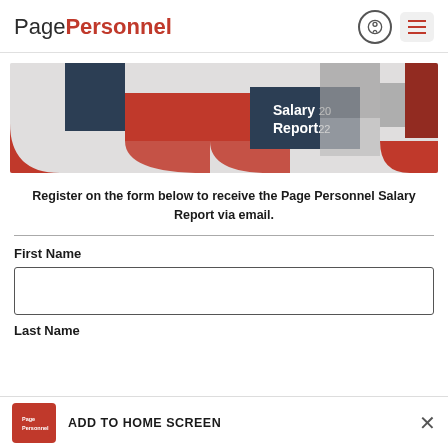PagePersonnel
[Figure (illustration): Page Personnel Salary Report 2022 decorative banner with geometric shapes in navy, red, grey tones]
Register on the form below to receive the Page Personnel Salary Report via email.
First Name
Last Name
ADD TO HOME SCREEN